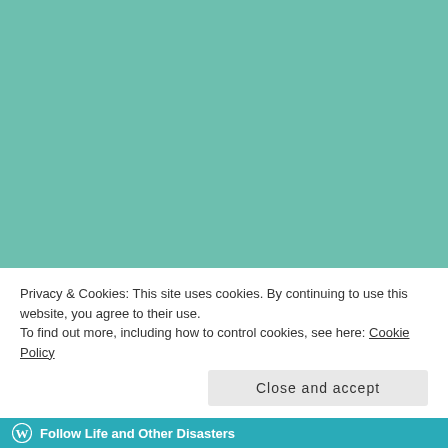Trailers You Might Have Missed … (Aug 15-21/2022)
Kat's Weekly TV & Movie Recap #31
FOLLOW BLOG VIA EMAIL
Enter your email address to follow this blog and receive notifications of new posts by email. Your information won't be shared with anyone.
Privacy & Cookies: This site uses cookies. By continuing to use this website, you agree to their use.
To find out more, including how to control cookies, see here: Cookie Policy
Close and accept
Follow Life and Other Disasters